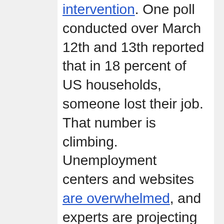intervention. One poll conducted over March 12th and 13th reported that in 18 percent of US households, someone lost their job. That number is climbing. Unemployment centers and websites are overwhelmed, and experts are projecting that the number of unemployed will expand to 4.6 million before the pandemic is through.
Therefore, while you are undoubtedly very concerned about your business, your employees may be very on edge as well. They're wondering whether their jobs are at risk, whether they'll get the virus themselves, whether